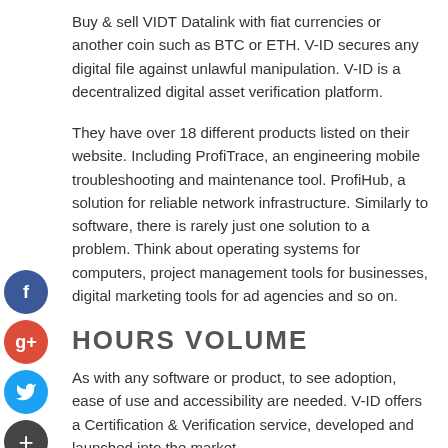Buy & sell VIDT Datalink with fiat currencies or another coin such as BTC or ETH. V-ID secures any digital file against unlawful manipulation. V-ID is a decentralized digital asset verification platform.
They have over 18 different products listed on their website. Including ProfiTrace, an engineering mobile troubleshooting and maintenance tool. ProfiHub, a solution for reliable network infrastructure. Similarly to software, there is rarely just one solution to a problem. Think about operating systems for computers, project management tools for businesses, digital marketing tools for ad agencies and so on.
HOURS VOLUME
As with any software or product, to see adoption, ease of use and accessibility are needed. V-ID offers a Certification & Verification service, developed and launched into the market...